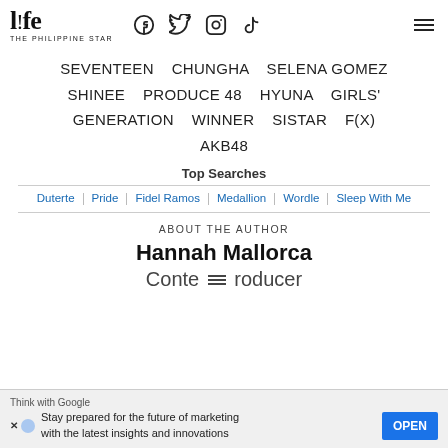life - THE PHILIPPINE STAR
SEVENTEEN   CHUNGHA   SELENA GOMEZ   SHINEE   PRODUCE 48   HYUNA   GIRLS' GENERATION   WINNER   SISTAR   F(X)   AKB48
Top Searches
Duterte | Pride | Fidel Ramos | Medallion | Wordle | Sleep With Me
ABOUT THE AUTHOR
Hannah Mallorca
Content Producer
Think with Google
Stay prepared for the future of marketing with the latest insights and innovations